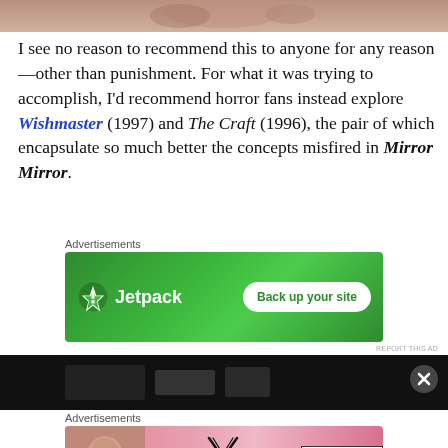[Figure (photo): Partial photo at top of page showing hands, cropped at top]
I see no reason to recommend this to anyone for any reason—other than punishment. For what it was trying to accomplish, I'd recommend horror fans instead explore Wishmaster (1997) and The Craft (1996), the pair of which encapsulate so much better the concepts misfired in Mirror Mirror.
Advertisements
[Figure (screenshot): Jetpack advertisement with green background: Jetpack logo and 'Back up your site' button]
REPORT THIS AD
[Figure (photo): Dark photo at bottom, partially visible]
Advertisements
[Figure (screenshot): Victoria's Secret advertisement on pink background with 'SHOP THE COLLECTION' and 'SHOP NOW' button]